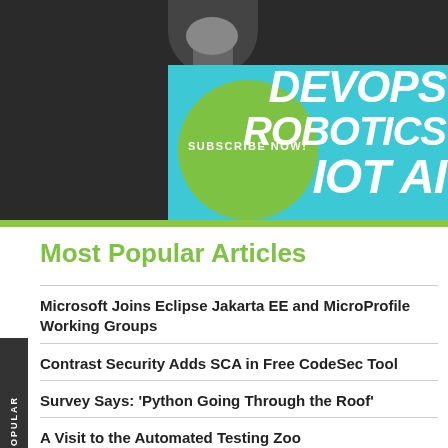[Figure (infographic): Tech magazine subscription banner with person, green circle, 'SUBSCRIBE NOW!' text, and topic words DEVOPS, ROBOTICS, IOT, AI on cyan/teal background]
Most Popular Articles
Microsoft Joins Eclipse Jakarta EE and MicroProfile Working Groups
Contrast Security Adds SCA in Free CodeSec Tool
Survey Says: 'Python Going Through the Roof'
A Visit to the Automated Testing Zoo
Building New Software? Beware The Tail: It Could Destroy You!